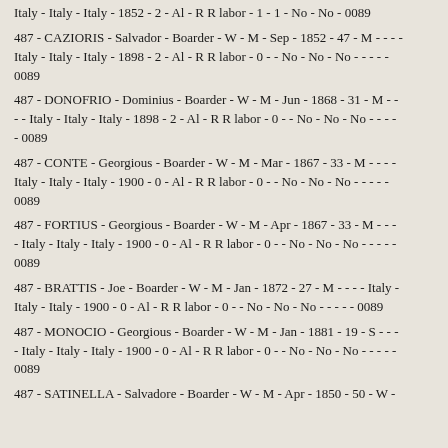Italy - Italy - Italy - 1852 - 2 - Al - R R labor - 1 - 1 - No - No - 0089
487 - CAZIORIS - Salvador - Boarder - W - M - Sep - 1852 - 47 - M - - - - Italy - Italy - Italy - 1898 - 2 - Al - R R labor - 0 - - No - No - No - - - - - 0089
487 - DONOFRIO - Dominius - Boarder - W - M - Jun - 1868 - 31 - M - - - - Italy - Italy - Italy - 1898 - 2 - Al - R R labor - 0 - - No - No - No - - - - - 0089
487 - CONTE - Georgious - Boarder - W - M - Mar - 1867 - 33 - M - - - - Italy - Italy - Italy - 1900 - 0 - Al - R R labor - 0 - - No - No - No - - - - - 0089
487 - FORTIUS - Georgious - Boarder - W - M - Apr - 1867 - 33 - M - - - - Italy - Italy - Italy - 1900 - 0 - Al - R R labor - 0 - - No - No - No - - - - - 0089
487 - BRATTIS - Joe - Boarder - W - M - Jan - 1872 - 27 - M - - - - Italy - Italy - Italy - 1900 - 0 - Al - R R labor - 0 - - No - No - No - - - - - 0089
487 - MONOCIO - Georgious - Boarder - W - M - Jan - 1881 - 19 - S - - - - Italy - Italy - Italy - 1900 - 0 - Al - R R labor - 0 - - No - No - No - - - - - 0089
487 - SATINELLA - Salvadore - Boarder - W - M - Apr - 1850 - 50 - W -